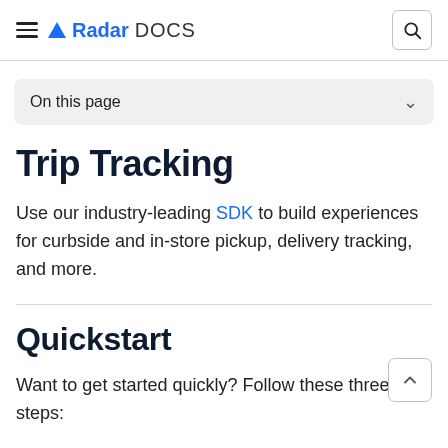Radar DOCS
On this page
Trip Tracking
Use our industry-leading SDK to build experiences for curbside and in-store pickup, delivery tracking, and more.
Quickstart
Want to get started quickly? Follow these three steps: